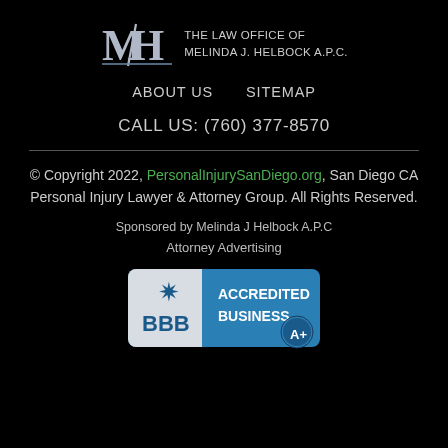[Figure (logo): MJH monogram logo with text: THE LAW OFFICE OF MELINDA J. HELBOCK A.P.C.]
ABOUT US    SITEMAP
CALL US: (760) 377-8570
© Copyright 2022, PersonalInjurySanDiego.org, San Diego CA Personal Injury Lawyer & Attorney Group. All Rights Reserved.
Sponsored by Melinda J Helbock A.P.C
Attorney Advertising
[Figure (logo): BBB Accredited Business A+ badge in blue]